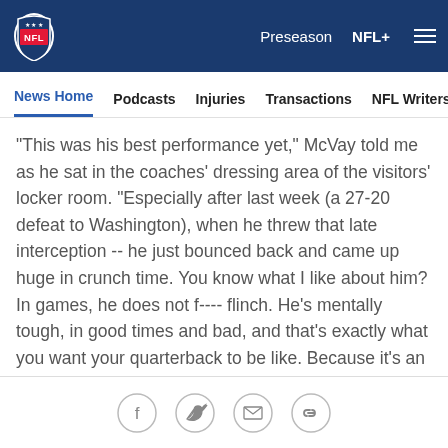NFL — Preseason   NFL+
News Home   Podcasts   Injuries   Transactions   NFL Writers   Se
"This was his best performance yet," McVay told me as he sat in the coaches' dressing area of the visitors' locker room. "Especially after last week (a 27-20 defeat to Washington), when he threw that late interception -- he just bounced back and came up huge in crunch time. You know what I like about him? In games, he does not f---- flinch. He's mentally tough, in good times and bad, and that's exactly what you want your quarterback to be like. Because it's an occupational hazard: Bad things are gonna happen when you play this position."
Social share icons: Facebook, Twitter, Email, Link